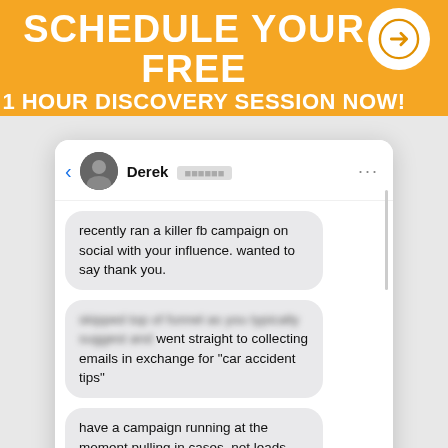SCHEDULE YOUR FREE 1 HOUR DISCOVERY SESSION NOW!
[Figure (screenshot): Facebook Messenger screenshot showing a conversation with Derek. Messages read: 'recently ran a killer fb campaign on social with your influence. wanted to say thank you.' / '[blurred text] went straight to collecting emails in exchange for "car accident tips"' / 'have a campaign running at the moment pulling in cases, not leads, for 250 dollars' / reply bubble: 'pretty fantastic']